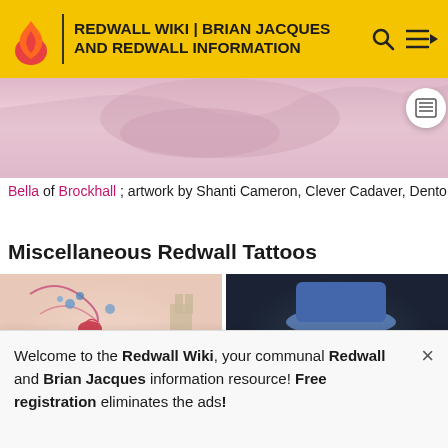REDWALL WIKI | BRIAN JACQUES AND REDWALL INFORMATION
[Figure (photo): Partial view of a tattoo showing artwork — top portion of Bella of Brockhall tattoo]
Bella of Brockhall; artwork by Shanti Cameron, Clever Cadaver, Denton, TX.
Miscellaneous Redwall Tattoos
[Figure (photo): Tattoo of a Redwall map with compass rose (N, W, E), flowers, a bird, and castle in background]
[Figure (photo): Tattoo of an anthropomorphic fox character wearing a hat, depicted in color]
Welcome to the Redwall Wiki, your communal Redwall and Brian Jacques information resource! Free registration eliminates the ads!